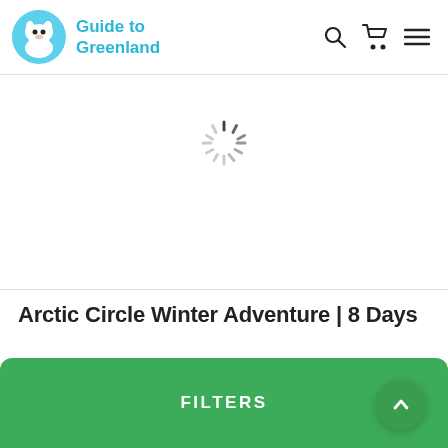Guide to Greenland
[Figure (illustration): Loading spinner (circular dashes loader indicator) centered on white background]
Arctic Circle Winter Adventure | 8 Days
FILTERS